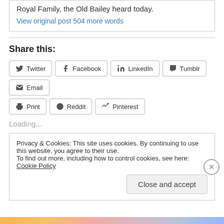Royal Family, the Old Bailey heard today.
View original post 504 more words
Share this:
Twitter
Facebook
LinkedIn
Tumblr
Email
Print
Reddit
Pinterest
Loading...
Privacy & Cookies: This site uses cookies. By continuing to use this website, you agree to their use.
To find out more, including how to control cookies, see here: Cookie Policy
Close and accept